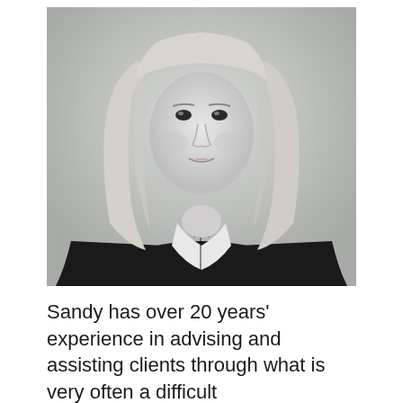[Figure (photo): Black and white professional portrait photograph of a woman with straight blonde hair, wearing a dark blazer over a white top with decorative trim, against a light grey background.]
Sandy has over 20 years' experience in advising and assisting clients through what is very often a difficult